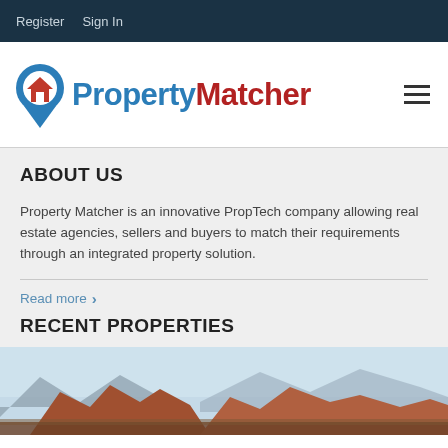Register  Sign In
[Figure (logo): PropertyMatcher logo with blue location pin containing a red house icon, followed by 'Property' in blue and 'Matcher' in red bold text]
ABOUT US
Property Matcher is an innovative PropTech company allowing real estate agencies, sellers and buyers to match their requirements through an integrated property solution.
Read more
RECENT PROPERTIES
[Figure (photo): Landscape photo showing red rock formations and mountains under a hazy blue sky, typical of an Australian or American southwest desert landscape]